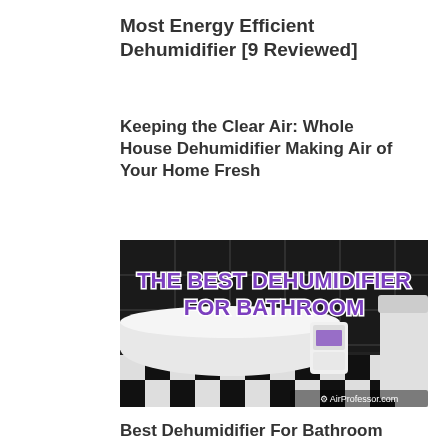Most Energy Efficient Dehumidifier [9 Reviewed]
Keeping the Clear Air: Whole House Dehumidifier Making Air of Your Home Fresh
[Figure (photo): Promotional image showing a bathroom with a clawfoot bathtub and a small white dehumidifier unit. Bold purple and white stylized text reads 'THE BEST DEHUMIDIFIER FOR BATHROOM'. Watermark in bottom right: AirProfessor.com]
Best Dehumidifier For Bathroom
Air Dehumidifier – Its Features and Applications in Everyday Life